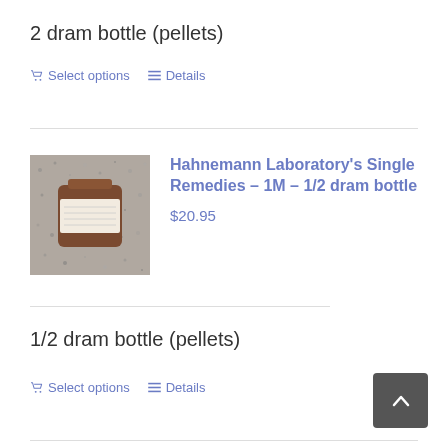2 dram bottle (pellets)
Select options  Details
[Figure (photo): Photo of a small homeopathic remedy bottle with a label, lying on a granite surface.]
Hahnemann Laboratory's Single Remedies – 1M – 1/2 dram bottle
$20.95
1/2 dram bottle (pellets)
Select options  Details